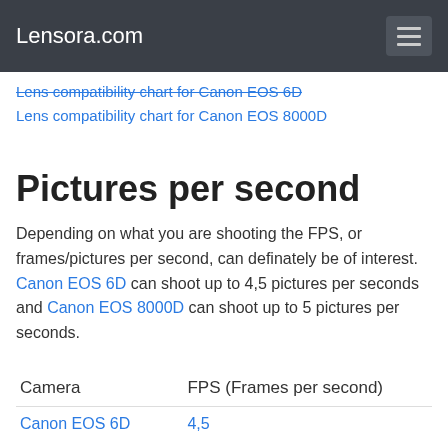Lensora.com
Lens compatibility chart for Canon EOS 6D (strikethrough/partially visible)
Lens compatibility chart for Canon EOS 8000D
Pictures per second
Depending on what you are shooting the FPS, or frames/pictures per second, can definately be of interest. Canon EOS 6D can shoot up to 4,5 pictures per seconds and Canon EOS 8000D can shoot up to 5 pictures per seconds.
| Camera | FPS (Frames per second) |
| --- | --- |
| Canon EOS 6D | 4,5 |